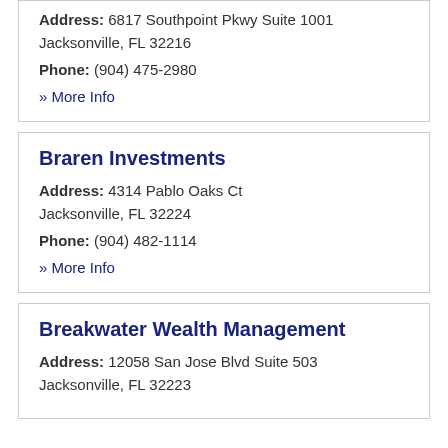Address: 6817 Southpoint Pkwy Suite 1001 Jacksonville, FL 32216
Phone: (904) 475-2980
» More Info
Braren Investments
Address: 4314 Pablo Oaks Ct Jacksonville, FL 32224
Phone: (904) 482-1114
» More Info
Breakwater Wealth Management
Address: 12058 San Jose Blvd Suite 503 Jacksonville, FL 32223